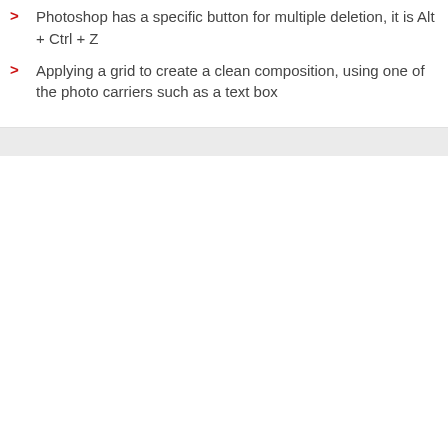Photoshop has a specific button for multiple deletion, it is Alt + Ctrl + Z
Applying a grid to create a clean composition, using one of the photo carriers such as a text box